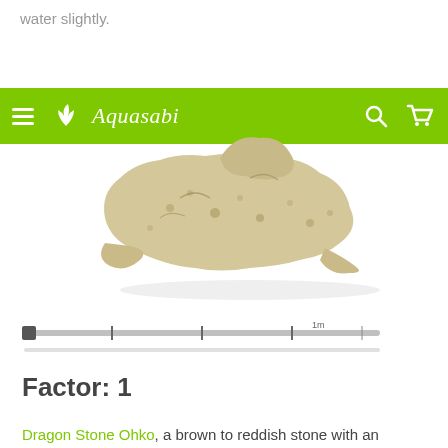water slightly.
[Figure (screenshot): Aquasabi website navigation bar with green background, hamburger menu icon, plant logo, 'Aquasabi' text in italic, search icon and cart icon on the right]
[Figure (photo): Dragon Stone Ohko - a rough, porous beige/tan colored aquarium stone photographed on white background]
[Figure (other): A horizontal range slider UI element with tick marks and a light gray progress bar below it]
Factor: 1
Dragon Stone Ohko, a brown to reddish stone with an